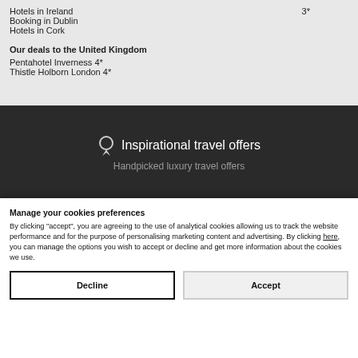Hotels in Ireland   3*
Booking in Dublin
Hotels in Cork
Our deals to the United Kingdom
Pentahotel Inverness 4*
Thistle Holborn London 4*
Inspirational travel offers
Handpicked luxury travel offers
discounts
Manage your cookies preferences
By clicking "accept", you are agreeing to the use of analytical cookies allowing us to track the website performance and for the purpose of personalising marketing content and advertising. By clicking here, you can manage the options you wish to accept or decline and get more information about the cookies we use.
Decline
Accept
Inscrivez-vous gratuitement